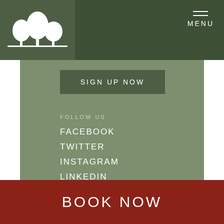[Figure (logo): White tree silhouette logo on dark green background]
MENU
SIGN UP NOW
FOLLOW US
FACEBOOK
TWITTER
INSTAGRAM
LINKEDIN
BOOK NOW